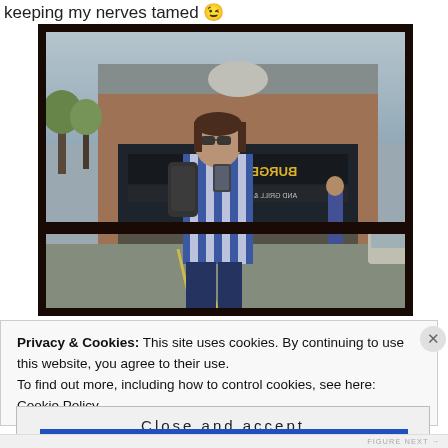keeping my nerves tamed 😉
[Figure (photo): A woman in a blue and white striped shirt and sunglasses taking a mirror selfie on a phone, with a backpack, standing in front of a Burger's Priest restaurant storefront. The image is reflected/mirrored showing the sign backwards. The photo is framed by a dark brown/black frame.]
Privacy & Cookies: This site uses cookies. By continuing to use this website, you agree to their use.
To find out more, including how to control cookies, see here: Cookie Policy
Close and accept